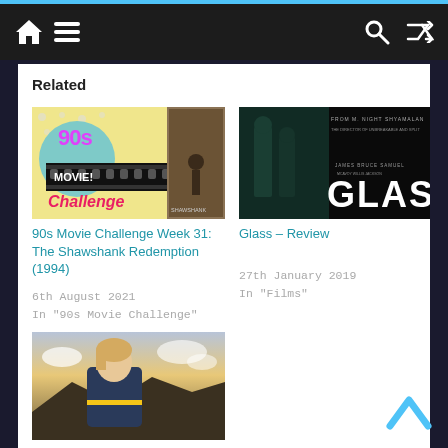Navigation bar with home, menu, search, and shuffle icons
Related
[Figure (photo): 90s Movie Challenge composite image with film reel and Shawshank Redemption poster]
90s Movie Challenge Week 31: The Shawshank Redemption (1994)
6th August 2021
In "90s Movie Challenge"
[Figure (photo): Glass movie poster showing M. Night Shyamalan film title GLASS]
Glass – Review
27th January 2019
In "Films"
[Figure (photo): Doctor Who promotional image showing a woman looking upward against a sunset sky]
Doctor Who – The